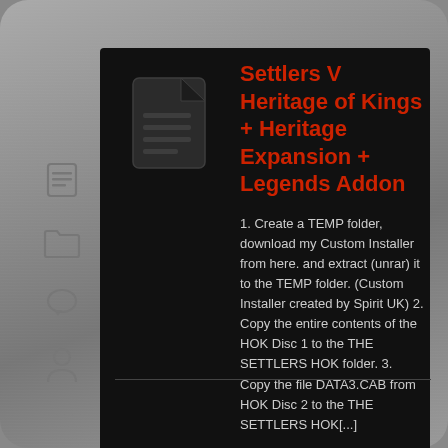[Figure (screenshot): A tablet/e-reader device UI screenshot showing a document listing page with a dark background. Left sidebar has icons for documents, folder, chat, and user. Main content area shows a large document icon and a game title with installation instructions.]
Settlers V Heritage of Kings + Heritage Expansion + Legends Addon
1. Create a TEMP folder, download my Custom Installer from here. and extract (unrar) it to the TEMP folder. (Custom Installer created by Spirit UK) 2. Copy the entire contents of the HOK Disc 1 to the THE SETTLERS HOK folder. 3. Copy the file DATA3.CAB from HOK Disc 2 to the THE SETTLERS HOK[...]